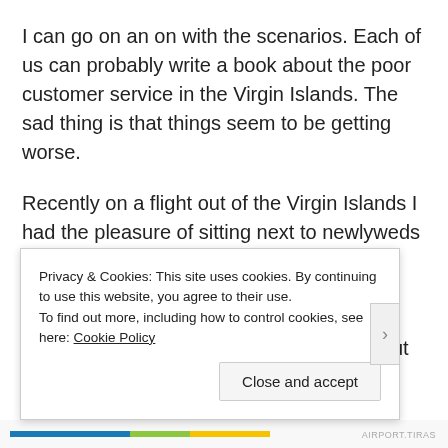I can go on an on with the scenarios. Each of us can probably write a book about the poor customer service in the Virgin Islands. The sad thing is that things seem to be getting worse.
Recently on a flight out of the Virgin Islands I had the pleasure of sitting next to newlyweds from South Dakota who had spent their honeymoon on St. Thomas. When I asked them about their stay they raved about the island's beauty and all the fun they had. But they also mentioned the poor customer service...
Privacy & Cookies: This site uses cookies. By continuing to use this website, you agree to their use. To find out more, including how to control cookies, see here: Cookie Policy
Close and accept